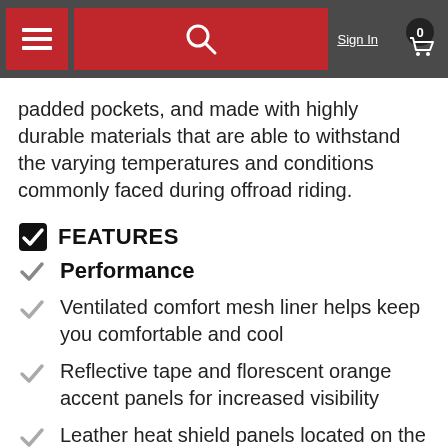Sign In | Navigation bar with menu, search, sign in, and cart
padded pockets, and made with highly durable materials that are able to withstand the varying temperatures and conditions commonly faced during offroad riding.
FEATURES
Performance
Ventilated comfort mesh liner helps keep you comfortable and cool
Reflective tape and florescent orange accent panels for increased visibility
Leather heat shield panels located on the inside of each leg